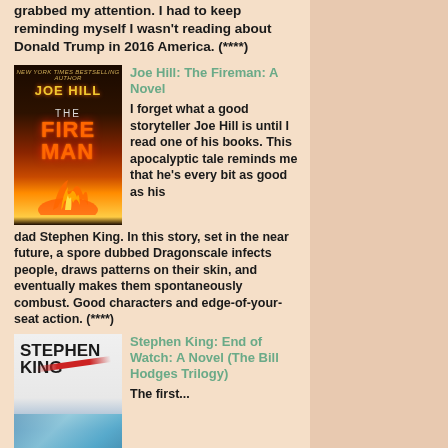grabbed my attention. I had to keep reminding myself I wasn't reading about Donald Trump in 2016 America. (****)
[Figure (illustration): Book cover of The Fireman by Joe Hill, dark tones with fire imagery]
Joe Hill: The Fireman: A Novel
I forget what a good storyteller Joe Hill is until I read one of his books. This apocalyptic tale reminds me that he's every bit as good as his dad Stephen King. In this story, set in the near future, a spore dubbed Dragonscale infects people, draws patterns on their skin, and eventually makes them spontaneously combust. Good characters and edge-of-your-seat action. (****)
[Figure (illustration): Book cover of End of Watch by Stephen King, white background with red slash and teal imagery]
Stephen King: End of Watch: A Novel (The Bill Hodges Trilogy)
The first...